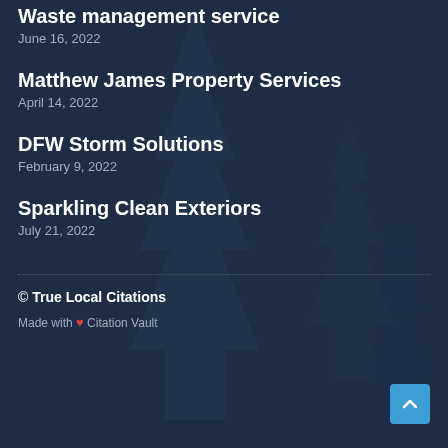Waste management service
June 16, 2022
Matthew James Property Services
April 14, 2022
DFW Storm Solutions
February 9, 2022
Sparkling Clean Exteriors
July 21, 2022
© True Local Citations
Made with ❤ Citation Vault